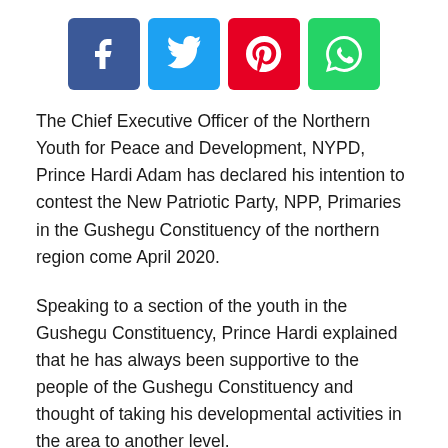[Figure (other): Social media share buttons: Facebook (blue), Twitter (light blue), Pinterest (red), WhatsApp (green)]
The Chief Executive Officer of the Northern Youth for Peace and Development, NYPD, Prince Hardi Adam has declared his intention to contest the New Patriotic Party, NPP, Primaries in the Gushegu Constituency of the northern region come April 2020.
Speaking to a section of the youth in the Gushegu Constituency, Prince Hardi explained that he has always been supportive to the people of the Gushegu Constituency and thought of taking his developmental activities in the area to another level.
The Founder of the NYPD stated that jobs for the people as well as interventions that will improve the lot of the people shall be his priority when he becomes the member of the constituency.